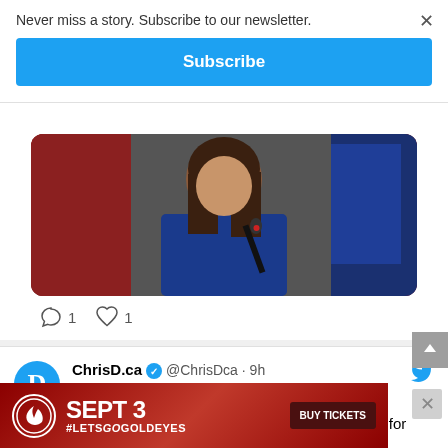Never miss a story. Subscribe to our newsletter.
Subscribe
[Figure (photo): Woman in blue jacket speaking at a press conference with flags in the background]
1  1
ChrisD.ca @ChrisDca · 9h
Winnipeg Brings in New Licence Requirements for Medical Cannabis Growers chrisd.ca/2022/08/31/win…
[Figure (photo): Aerial view of cannabis plants growing outdoors]
[Figure (infographic): Advertisement: SEPT 3 #LETSGOGOLDEYES BUY TICKETS red banner ad]